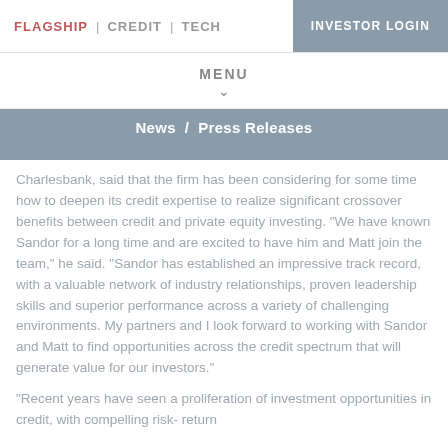FLAGSHIP | CREDIT | TECH   INVESTOR LOGIN
MENU
News / Press Releases
Charlesbank, said that the firm has been considering for some time how to deepen its credit expertise to realize significant crossover benefits between credit and private equity investing. "We have known Sandor for a long time and are excited to have him and Matt join the team," he said. "Sandor has established an impressive track record, with a valuable network of industry relationships, proven leadership skills and superior performance across a variety of challenging environments. My partners and I look forward to working with Sandor and Matt to find opportunities across the credit spectrum that will generate value for our investors."
"Recent years have seen a proliferation of investment opportunities in credit, with compelling risk- return